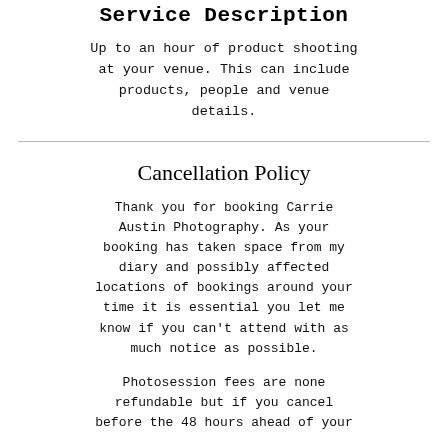Service Description
Up to an hour of product shooting at your venue. This can include products, people and venue details.
Cancellation Policy
Thank you for booking Carrie Austin Photography. As your booking has taken space from my diary and possibly affected locations of bookings around your time it is essential you let me know if you can't attend with as much notice as possible.
Photosession fees are none refundable but if you cancel before the 48 hours ahead of your